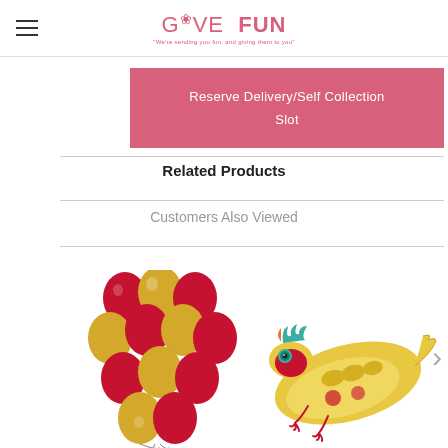GIVE FUN — We're sending you fun, and giving them to you
Reserve Delivery/Self Collection Slot
Related Products
Customers Also Viewed
[Figure (photo): Bundle of red and gold balloons tied together]
[Figure (photo): Chinese dragon foil balloon in red and gold colors]